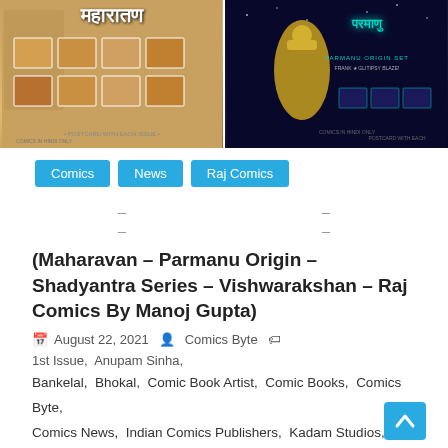[Figure (photo): Two comic book covers side by side. Left: Maharavan series comic set with Hindi title text on brownish-gold background. Right: Parmanu Origin Set comic with superhero figure on dark blue/space background with cyan Hindi text.]
Comics
News
Raj Comics
(Maharavan – Parmanu Origin – Shadyantra Series – Vishwarakshan – Raj Comics By Manoj Gupta)
August 22, 2021   Comics Byte   1st Issue, Anupam Sinha, Bankelal, Bhokal, Comic Book Artist, Comic Books, Comics Byte, Comics News, Indian Comics Publishers, Kadam Studios, Maharavan Series, Nagraj, New Release, Parmanu, Pre Order, Raj Comics,